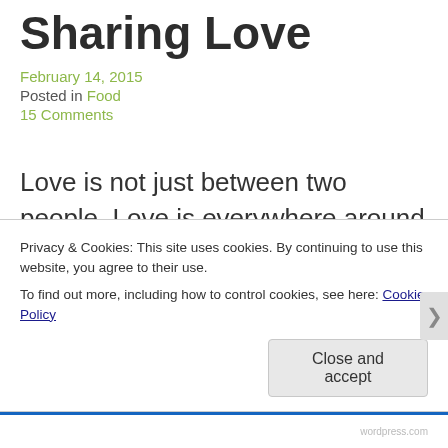Sharing Love
February 14, 2015
Posted in Food
15 Comments
Love is not just between two people. Love is everywhere around us. Loving life, loving sun, moon and the stars… Loving yourself! Pure love comes from inside and we nourish it with positive thoughts and kindness. And sometimes, with
Privacy & Cookies: This site uses cookies. By continuing to use this website, you agree to their use.
To find out more, including how to control cookies, see here: Cookie Policy
Close and accept